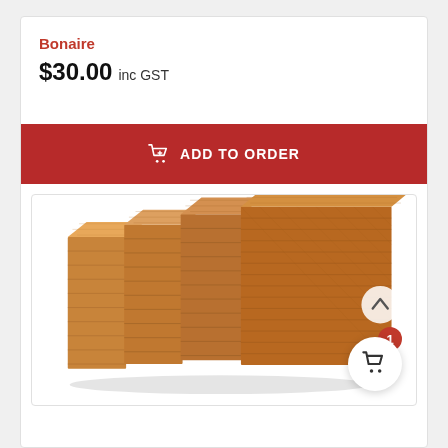Bonaire
$30.00 inc GST
ADD TO ORDER
[Figure (photo): Stack of honeycomb/cellulose evaporative cooling pads arranged in a stepped formation, showing textured brown corrugated material]